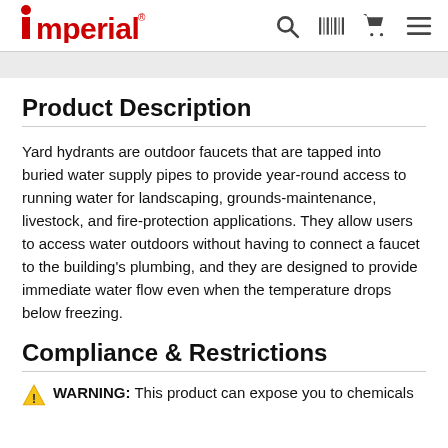Imperial
Product Description
Yard hydrants are outdoor faucets that are tapped into buried water supply pipes to provide year-round access to running water for landscaping, grounds-maintenance, livestock, and fire-protection applications. They allow users to access water outdoors without having to connect a faucet to the building's plumbing, and they are designed to provide immediate water flow even when the temperature drops below freezing.
Compliance & Restrictions
WARNING: This product can expose you to chemicals